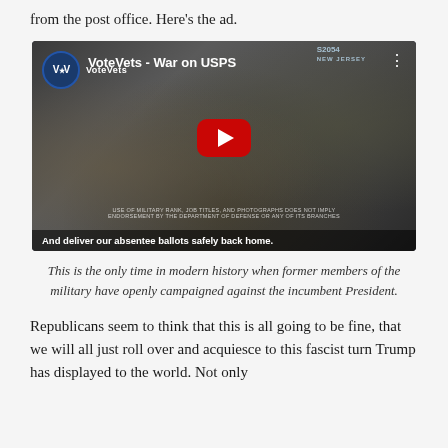from the post office. Here's the ad.
[Figure (screenshot): YouTube video embed thumbnail showing soldiers in camouflage writing documents, with VoteVets logo, title 'VoteVets - War on USPS', red YouTube play button, and caption text 'And deliver our absentee ballots safely back home.']
This is the only time in modern history when former members of the military have openly campaigned against the incumbent President.
Republicans seem to think that this is all going to be fine, that we will all just roll over and acquiesce to this fascist turn Trump has displayed to the world. Not only